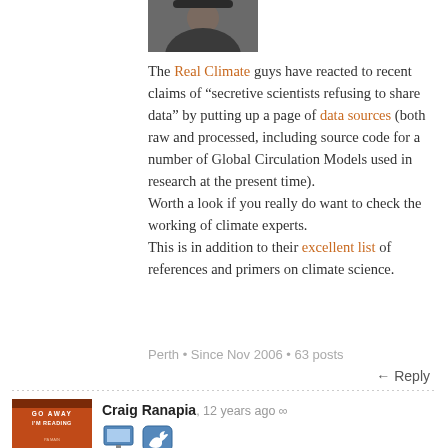[Figure (photo): Small user avatar photo at top, partially visible]
The Real Climate guys have reacted to recent claims of “secretive scientists refusing to share data” by putting up a page of data sources (both raw and processed, including source code for a number of Global Circulation Models used in research at the present time).
Worth a look if you really do want to check the working of climate experts.
This is in addition to their excellent list of references and primers on climate science.
Perth • Since Nov 2006 • 63 posts
← Reply
[Figure (photo): Book cover avatar: Go Away I'm Reading, orange/red cover with penguin logo]
Craig Ranapia, 12 years ago ∞
[Figure (screenshot): Two small social media icons: computer monitor icon and Twitter bird icon]
On sale at Unity Bookshop in Wellington: “I miss Helen” badges.
Indeed – Helen Reddy hasn't put out an album of new material in over a decade.